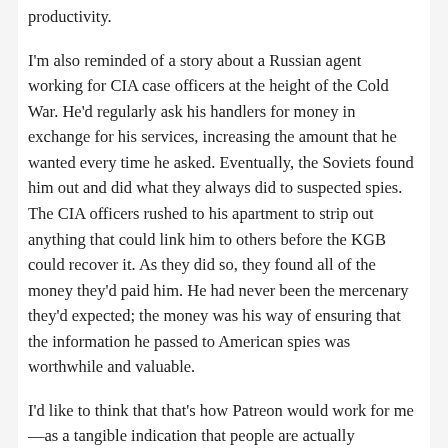productivity.
I'm also reminded of a story about a Russian agent working for CIA case officers at the height of the Cold War. He'd regularly ask his handlers for money in exchange for his services, increasing the amount that he wanted every time he asked. Eventually, the Soviets found him out and did what they always did to suspected spies. The CIA officers rushed to his apartment to strip out anything that could link him to others before the KGB could recover it. As they did so, they found all of the money they'd paid him. He had never been the mercenary they'd expected; the money was his way of ensuring that the information he passed to American spies was worthwhile and valuable.
I'd like to think that that's how Patreon would work for me—as a tangible indication that people are actually interested in my creative work. It would be nice to have some associated income—either to allow me to devote more time to writing and other creative endeavors or to invest in the settings themselves—for artwork and other needs that could allow